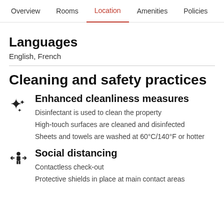Overview  Rooms  Location  Amenities  Policies  Reviews
Languages
English, French
Cleaning and safety practices
Enhanced cleanliness measures
Disinfectant is used to clean the property
High-touch surfaces are cleaned and disinfected
Sheets and towels are washed at 60°C/140°F or hotter
Social distancing
Contactless check-out
Protective shields in place at main contact areas